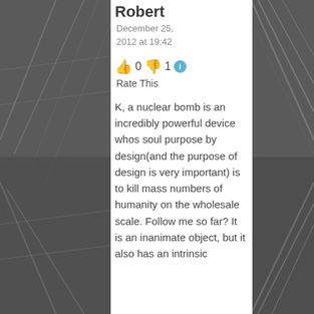Robert
December 25, 2012 at 19:42
👍 0 👎 1 ℹ Rate This
K, a nuclear bomb is an incredibly powerful device whos soul purpose by design(and the purpose of design is very important) is to kill mass numbers of humanity on the wholesale scale. Follow me so far? It is an inanimate object, but it also has an intrinsic